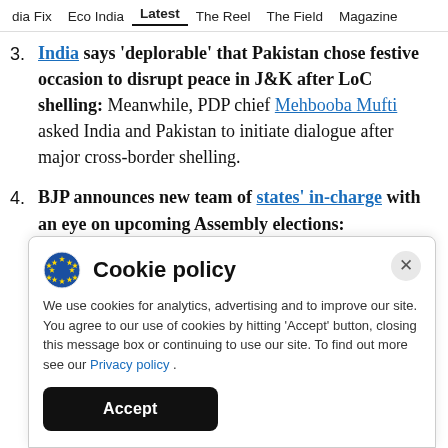dia Fix  Eco India  Latest  The Reel  The Field  Magazine
3. India says 'deplorable' that Pakistan chose festive occasion to disrupt peace in J&K after LoC shelling: Meanwhile, PDP chief Mehbooba Mufti asked India and Pakistan to initiate dialogue after major cross-border shelling.
4. BJP announces new team of states' in-charge with an eye on upcoming Assembly elections:
[Figure (screenshot): Cookie policy popup overlay with EU cookie icon, title 'Cookie policy', close button (X), body text about cookie usage, Privacy policy link, and Accept button.]